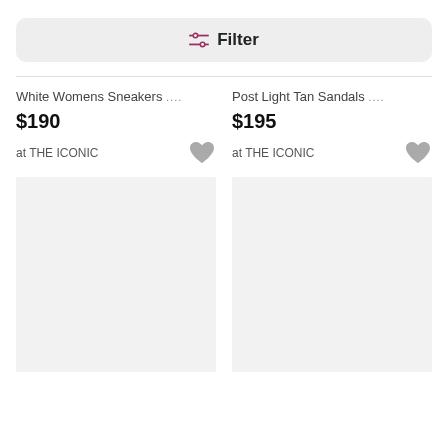[Figure (screenshot): Filter button with sliders icon and bold Filter label on grey rounded background]
White Womens Sneakers ....
$190
at THE ICONIC
Post Light Tan Sandals ....
$195
at THE ICONIC
[Figure (photo): Empty light grey product image placeholder, left card]
[Figure (photo): Empty light grey product image placeholder, right card]